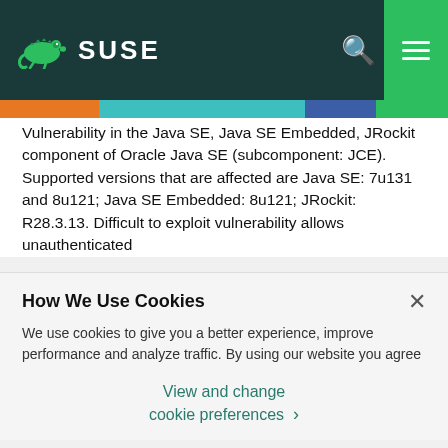[Figure (logo): SUSE logo with chameleon icon on dark teal header bar, with orange search icon and green hamburger menu box]
Vulnerability in the Java SE, Java SE Embedded, JRockit component of Oracle Java SE (subcomponent: JCE). Supported versions that are affected are Java SE: 7u131 and 8u121; Java SE Embedded: 8u121; JRockit: R28.3.13. Difficult to exploit vulnerability allows unauthenticated
How We Use Cookies
We use cookies to give you a better experience, improve performance and analyze traffic. By using our website you agree to our use of cookies.
View and change cookie preferences >